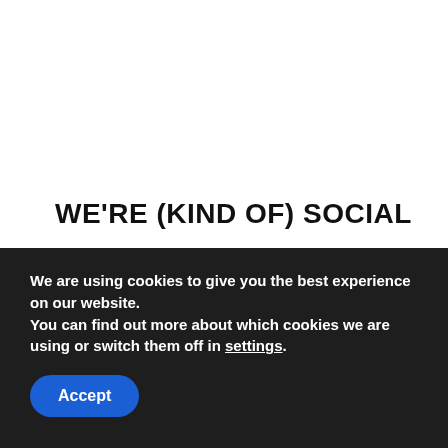WE'RE (KIND OF) SOCIAL
[Figure (infographic): Social media icons: Facebook, Twitter, Instagram, LinkedIn]
© CallHomeNews
We are using cookies to give you the best experience on our website.
You can find out more about which cookies we are using or switch them off in settings.
Accept